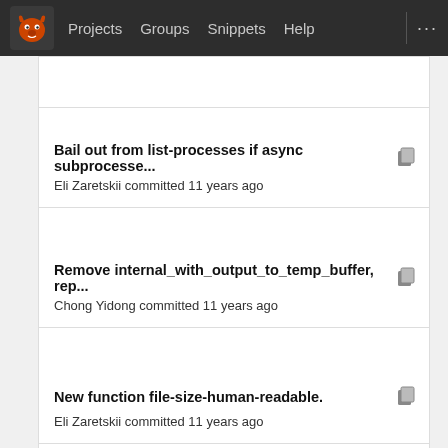Projects  Groups  Snippets  Help
Bail out from list-processes if async subprocesse...
Eli Zaretskii committed 11 years ago
Remove internal_with_output_to_temp_buffer, rep...
Chong Yidong committed 11 years ago
New function file-size-human-readable.
Eli Zaretskii committed 11 years ago
* lisp/replace.el (occur-mode-map): Some fixes for...